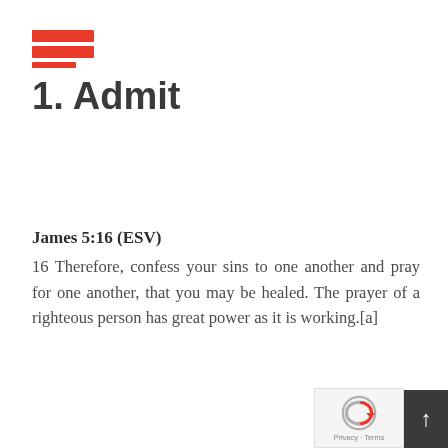1. Admit
James 5:16 (ESV)
16 Therefore, confess your sins to one another and pray for one another, that you may be healed. The prayer of a righteous person has great power as it is working.[a]